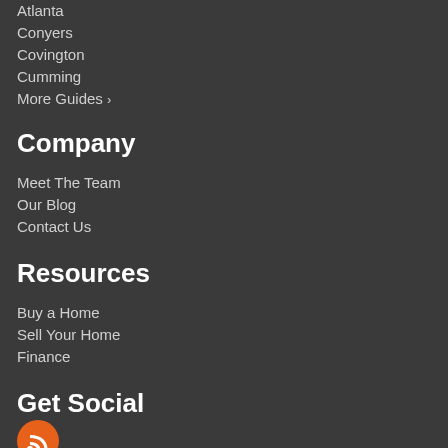Atlanta
Conyers
Covington
Cumming
More Guides >
Company
Meet The Team
Our Blog
Contact Us
Resources
Buy a Home
Sell Your Home
Finance
Get Social
[Figure (logo): Orange RSS feed icon circle]